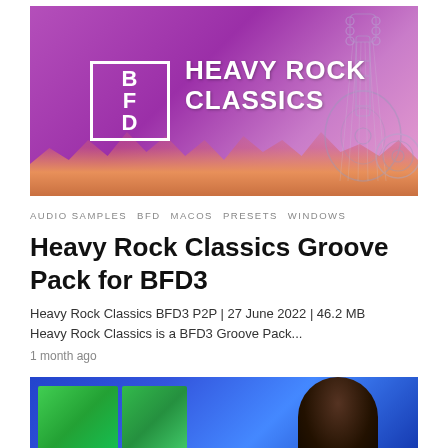[Figure (illustration): Heavy Rock Classics BFD3 promotional banner with purple/violet background, BFD logo in white box on left, 'HEAVY ROCK CLASSICS' text in white, guitar sketch illustration on right, concert crowd silhouette at bottom]
AUDIO SAMPLES   BFD   MACOS   PRESETS   WINDOWS
Heavy Rock Classics Groove Pack for BFD3
Heavy Rock Classics BFD3 P2P | 27 June 2022 | 46.2 MB
Heavy Rock Classics is a BFD3 Groove Pack...
1 month ago
[Figure (photo): Partial view of a photo showing green-lit panels/screens on the left and a person's silhouette wearing a cap on the right, blue background]